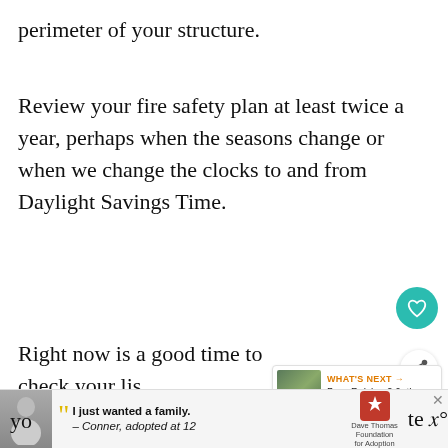perimeter of your structure.
Review your fire safety plan at least twice a year, perhaps when the seasons change or when we change the clocks to and from Daylight Savings Time.
Right now is a good time to check your lis fire safety precautions. Take an af inspect your barn for these problems,
yo